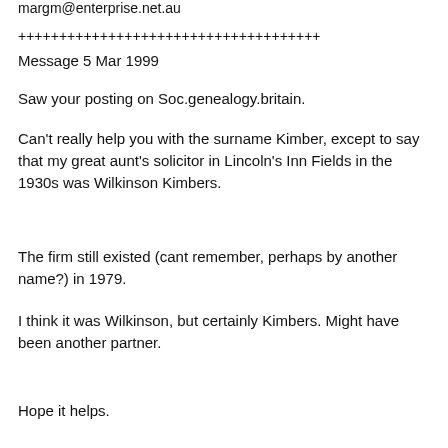margm@enterprise.net.au
+++++++++++++++++++++++++++++++++++++
Message 5 Mar 1999
Saw your posting on Soc.genealogy.britain.
Can't really help you with the surname Kimber, except to say that my great aunt's solicitor in Lincoln's Inn Fields in the 1930s was Wilkinson Kimbers.
The firm still existed (cant remember, perhaps by another name?) in 1979.
I think it was Wilkinson, but certainly Kimbers. Might have been another partner.
Hope it helps.